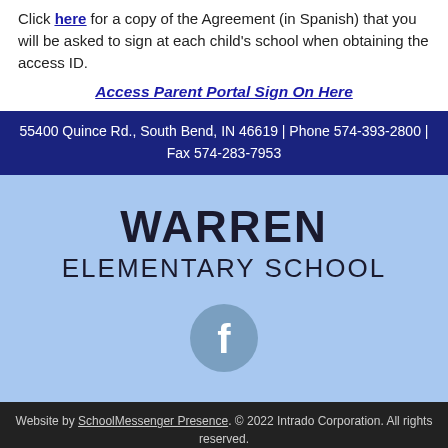Click here for a copy of the Agreement (in Spanish) that you will be asked to sign at each child's school when obtaining the access ID.
Access Parent Portal Sign On Here
55400 Quince Rd., South Bend, IN 46619 | Phone 574-393-2800 | Fax 574-283-7953
WARREN ELEMENTARY SCHOOL
[Figure (logo): Facebook icon circle with 'f' logo in light blue/grey circle]
Website by SchoolMessenger Presence. © 2022 Intrado Corporation. All rights reserved.